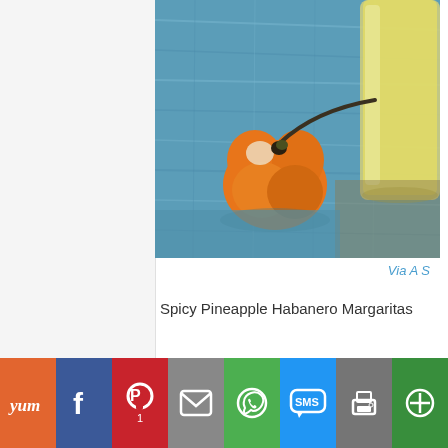[Figure (photo): Photo of an orange habanero pepper on a blue wooden surface next to a glass of yellow pineapple margarita drink]
Via A S
Spicy Pineapple Habanero Margaritas
Yum | Facebook | Pinterest (1) | Email | WhatsApp | SMS | Print | More